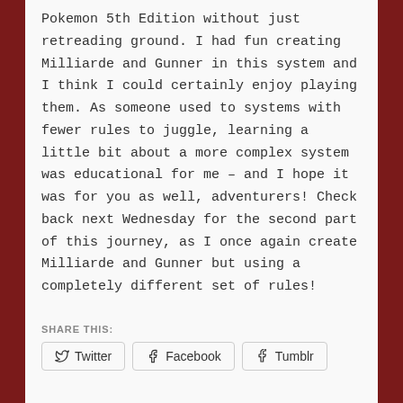Pokemon 5th Edition without just retreading ground. I had fun creating Milliarde and Gunner in this system and I think I could certainly enjoy playing them. As someone used to systems with fewer rules to juggle, learning a little bit about a more complex system was educational for me – and I hope it was for you as well, adventurers! Check back next Wednesday for the second part of this journey, as I once again create Milliarde and Gunner but using a completely different set of rules!
SHARE THIS:
[Figure (other): Share buttons for Twitter, Facebook, and Tumblr]